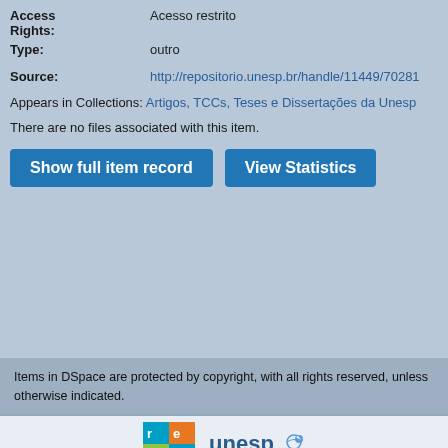Access Rights: Acesso restrito
Type: outro
Source: http://repositorio.unesp.br/handle/11449/70281
Appears in Collections: Artigos, TCCs, Teses e Dissertações da Unesp
There are no files associated with this item.
[Figure (screenshot): Show full item record button and View Statistics button]
Items in DSpace are protected by copyright, with all rights reserved, unless otherwise indicated.
[Figure (logo): REP and UNESP logos]
[Figure (logo): Prograd, PROPG, PROEX, CEDEM, globe icon, CGB logos]
© 2022 Unesp - Universidade Estadual Paulista "Júlio de Mesquita Filho" - All rights